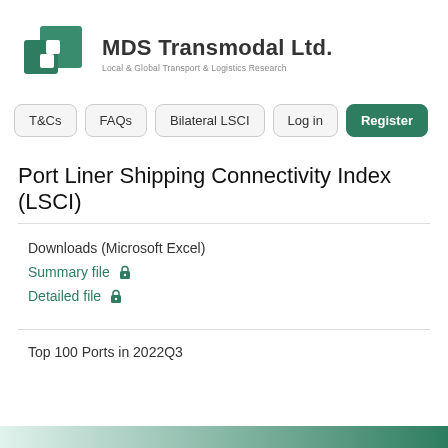[Figure (logo): MDS Transmodal Ltd. logo with two overlapping green geometric shapes and company name with tagline 'Local & Global Transport & Logistics Research']
T&Cs | FAQs | Bilateral LSCI | Log in | Register
Port Liner Shipping Connectivity Index (LSCI)
Downloads (Microsoft Excel)
Summary file 🔒
Detailed file 🔒
Top 100 Ports in 2022Q3